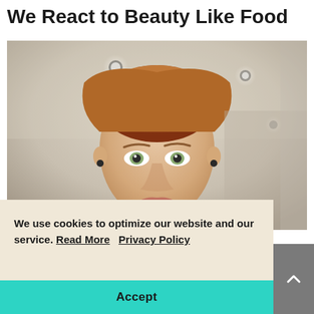We React to Beauty Like Food
[Figure (photo): Close-up photo of a young woman with red hair pulled back, wearing dark earrings and a patterned top, looking directly at the camera with a neutral expression. Background shows a blurred interior room with ceiling lights.]
We use cookies to optimize our website and our service. Read More   Privacy Policy
Accept